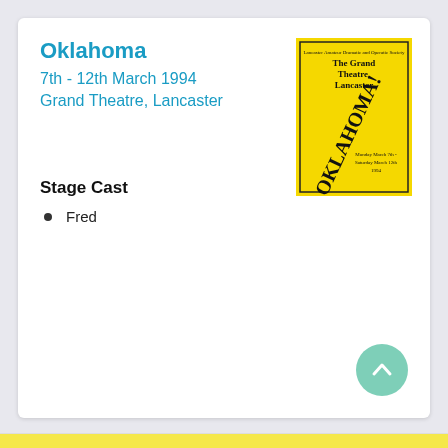Oklahoma
7th - 12th March 1994
Grand Theatre, Lancaster
[Figure (photo): Yellow programme cover for Oklahoma! at The Grand Theatre, Lancaster. Text reads: Lancaster Amateur Dramatic and Operatic Society, The Grand Theatre, Lancaster, OKLAHOMA!, Monday March 7th - Saturday March 12th 1994]
Stage Cast
Fred